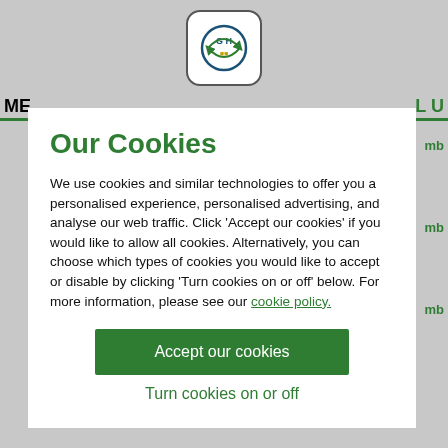[Figure (screenshot): Website background with grey overlay, partially visible navigation header with green logo icon, truncated nav text 'ME' on left and 'L U' on right, green underline bar, and green partial text snippets on right side.]
Our Cookies
We use cookies and similar technologies to offer you a personalised experience, personalised advertising, and analyse our web traffic. Click 'Accept our cookies' if you would like to allow all cookies. Alternatively, you can choose which types of cookies you would like to accept or disable by clicking 'Turn cookies on or off' below. For more information, please see our cookie policy.
Accept our cookies
Turn cookies on or off